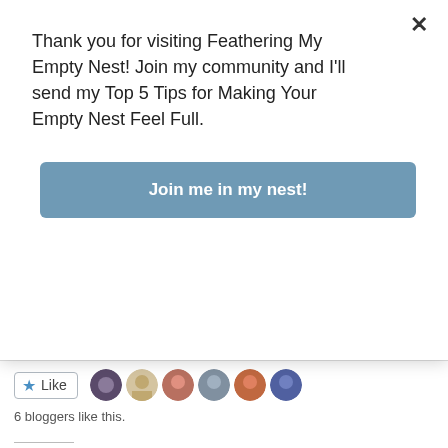Thank you for visiting Feathering My Empty Nest! Join my community and I'll send my Top 5 Tips for Making Your Empty Nest Feel Full.
Join me in my nest!
6 bloggers like this.
Related
The Blog Post I Never Wanted To Write
April 27, 2019
In "death"
Learning To Share In The Empty Nest
August 15, 2020
In "Daughter-in-law"
With, It's A Powerful Word
September 1, 2018
In "Creation"